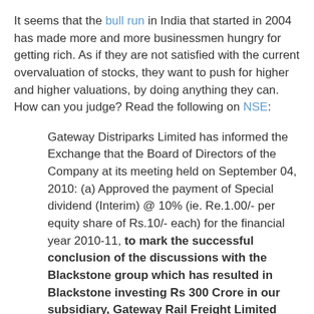It seems that the bull run in India that started in 2004 has made more and more businessmen hungry for getting rich. As if they are not satisfied with the current overvaluation of stocks, they want to push for higher and higher valuations, by doing anything they can. How can you judge? Read the following on NSE:
Gateway Distriparks Limited has informed the Exchange that the Board of Directors of the Company at its meeting held on September 04, 2010: (a) Approved the payment of Special dividend (Interim) @ 10% (ie. Re.1.00/- per equity share of Rs.10/- each) for the financial year 2010-11, to mark the successful conclusion of the discussions with the Blackstone group which has resulted in Blackstone investing Rs 300 Crore in our subsidiary, Gateway Rail Freight Limited (GRFL). This is the largest private equity investment in the GDL group to date.